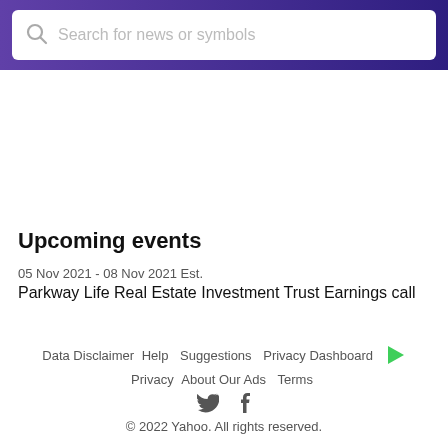Search for news or symbols
Upcoming events
05 Nov 2021 - 08 Nov 2021 Est.
Parkway Life Real Estate Investment Trust Earnings call
Data Disclaimer  Help  Suggestions  Privacy Dashboard  Privacy  About Our Ads  Terms
© 2022 Yahoo. All rights reserved.